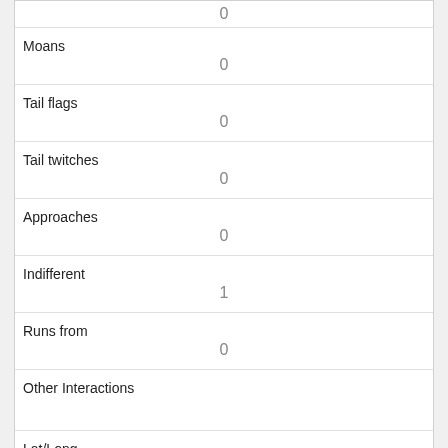| 0 |
| Moans | 0 |
| Tail flags | 0 |
| Tail twitches | 0 |
| Approaches | 0 |
| Indifferent | 1 |
| Runs from | 0 |
| Other Interactions |  |
| Lat/Long | POINT (-73.9706641770728 40.7759229213762) |
| Link | 806 |